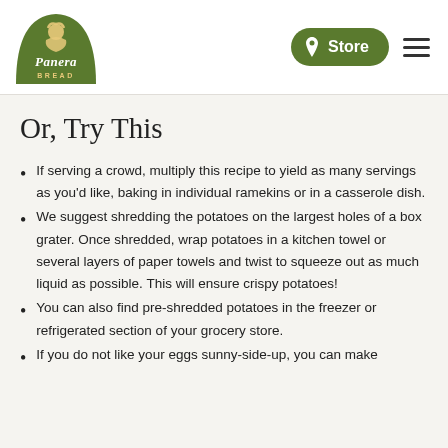[Figure (logo): Panera Bread logo — olive green arch with illustrated baker figure, white text 'Panera' in script and 'BREAD' in caps below]
[Figure (other): Green rounded pill button with location pin icon and text 'Store', plus a hamburger menu icon (three horizontal lines) to the right]
Or, Try This
If serving a crowd, multiply this recipe to yield as many servings as you'd like, baking in individual ramekins or in a casserole dish.
We suggest shredding the potatoes on the largest holes of a box grater. Once shredded, wrap potatoes in a kitchen towel or several layers of paper towels and twist to squeeze out as much liquid as possible. This will ensure crispy potatoes!
You can also find pre-shredded potatoes in the freezer or refrigerated section of your grocery store.
If you do not like your eggs sunny-side-up, you can make